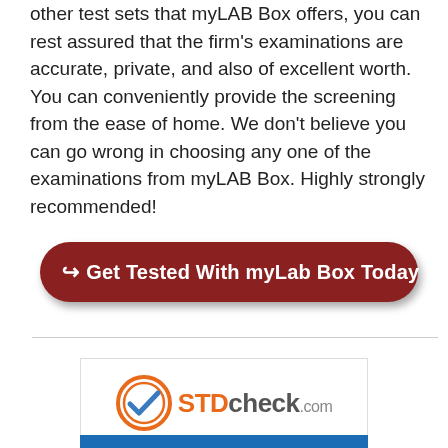other test sets that myLAB Box offers, you can rest assured that the firm's examinations are accurate, private, and also of excellent worth. You can conveniently provide the screening from the ease of home. We don't believe you can go wrong in choosing any one of the examinations from myLAB Box. Highly strongly recommended!
[Figure (other): Dark red rounded button with arrow icon and text: Get Tested With myLab Box Today]
[Figure (logo): STDcheck.com logo with orange and grey checkmark circle icon, orange STD text, grey check text, grey .com text, with a blue bar at the bottom]